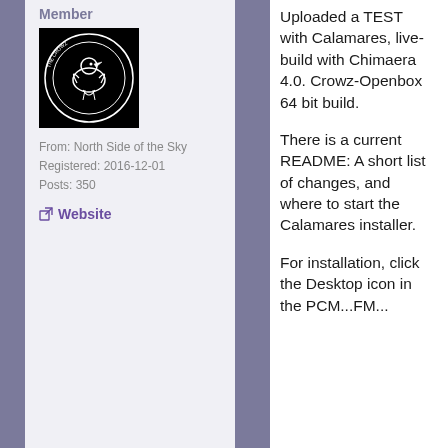Member
[Figure (photo): User avatar showing a circular logo with a bird/crow illustration on black background]
From: North Side of the Sky
Registered: 2016-12-01
Posts: 350
Website
Uploaded a TEST with Calamares, live-build with Chimaera 4.0. Crowz-Openbox 64 bit build.
There is a current README: A short list of changes, and where to start the Calamares installer.
For installation, click the Desktop icon in the PCM...FM...